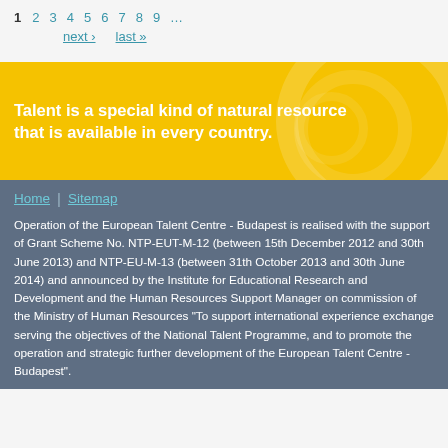1  2  3  4  5  6  7  8  9  ...  next ›  last »
[Figure (infographic): Yellow banner with decorative circles and bold white text: Talent is a special kind of natural resource that is available in every country.]
Home | Sitemap
Operation of the European Talent Centre - Budapest is realised with the support of Grant Scheme No. NTP-EUT-M-12 (between 15th December 2012 and 30th June 2013) and NTP-EU-M-13 (between 31th October 2013 and 30th June 2014) and announced by the Institute for Educational Research and Development and the Human Resources Support Manager on commission of the Ministry of Human Resources “To support international experience exchange serving the objectives of the National Talent Programme, and to promote the operation and strategic further development of the European Talent Centre - Budapest”.